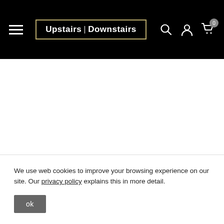[Figure (logo): Upstairs | Downstairs website header with logo, hamburger menu, search icon, account icon, and cart icon with 0 badge on black background]
We use web cookies to improve your browsing experience on our site. Our privacy policy explains this in more detail.
ok